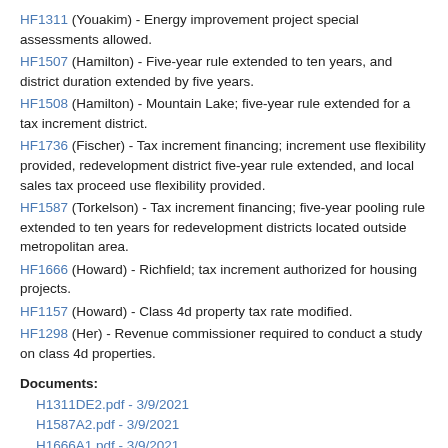HF1311 (Youakim) - Energy improvement project special assessments allowed.
HF1507 (Hamilton) - Five-year rule extended to ten years, and district duration extended by five years.
HF1508 (Hamilton) - Mountain Lake; five-year rule extended for a tax increment district.
HF1736 (Fischer) - Tax increment financing; increment use flexibility provided, redevelopment district five-year rule extended, and local sales tax proceed use flexibility provided.
HF1587 (Torkelson) - Tax increment financing; five-year pooling rule extended to ten years for redevelopment districts located outside metropolitan area.
HF1666 (Howard) - Richfield; tax increment authorized for housing projects.
HF1157 (Howard) - Class 4d property tax rate modified.
HF1298 (Her) - Revenue commissioner required to conduct a study on class 4d properties.
Documents:
H1311DE2.pdf - 3/9/2021
H1587A2.pdf - 3/9/2021
H1666A1.pdf - 3/9/2021